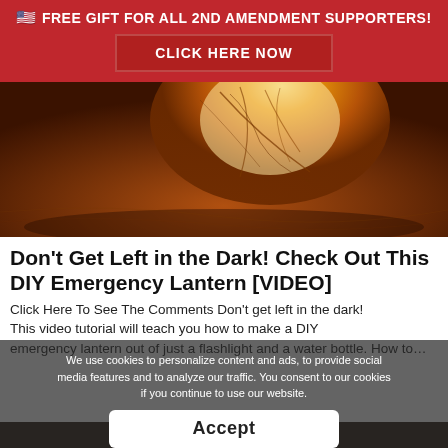🇺🇸 FREE GIFT FOR ALL 2ND AMENDMENT SUPPORTERS!
CLICK HERE NOW
[Figure (photo): Close-up photograph of a glowing orange leaf or lantern-like object with visible veins, lit from behind with warm amber/orange light against a dark brown background.]
Don't Get Left in the Dark! Check Out This DIY Emergency Lantern [VIDEO]
Click Here To See The Comments Don't get left in the dark! This video tutorial will teach you how to make a DIY emergency lantern out of just a flashlight and a water bottle. How to…
We use cookies to personalize content and ads, to provide social media features and to analyze our traffic. You consent to our cookies if you continue to use our website.
Accept